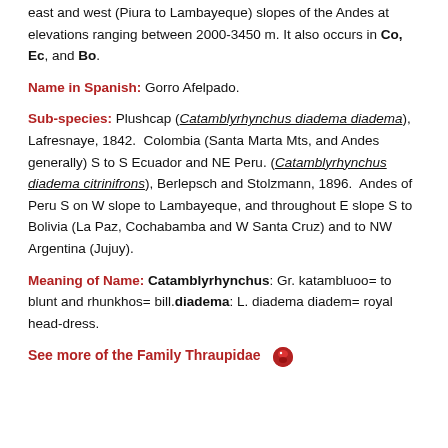east and west (Piura to Lambayeque) slopes of the Andes at elevations ranging between 2000-3450 m. It also occurs in Co, Ec, and Bo.
Name in Spanish: Gorro Afelpado.
Sub-species: Plushcap (Catamblyrhynchus diadema diadema), Lafresnaye, 1842. Colombia (Santa Marta Mts, and Andes generally) S to S Ecuador and NE Peru. (Catamblyrhynchus diadema citrinifrons), Berlepsch and Stolzmann, 1896. Andes of Peru S on W slope to Lambayeque, and throughout E slope S to Bolivia (La Paz, Cochabamba and W Santa Cruz) and to NW Argentina (Jujuy).
Meaning of Name: Catamblyrhynchus: Gr. katambluoo= to blunt and rhunkhos= bill. diadema: L. diadema diadem= royal head-dress.
See more of the Family Thraupidae